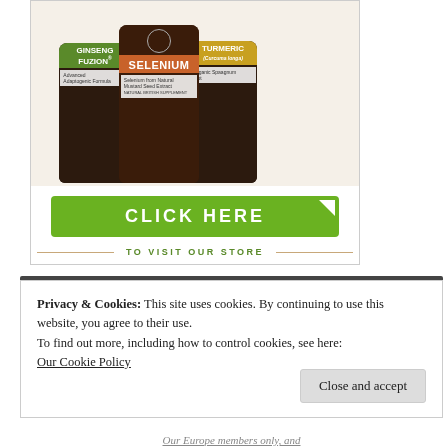[Figure (photo): Advertisement showing three supplement bottles: Ginseng Fuzion (green label), Selenium (orange label), and Turmeric (gold label) on a light background, with a green CLICK HERE button and 'TO VISIT OUR STORE' text below]
Privacy & Cookies: This site uses cookies. By continuing to use this website, you agree to their use.
To find out more, including how to control cookies, see here:
Our Cookie Policy
Close and accept